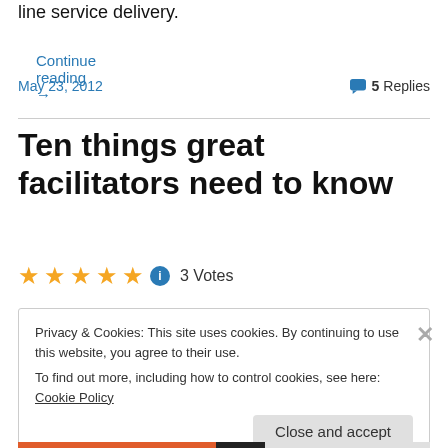line service delivery.
Continue reading →
May 23, 2012
5 Replies
Ten things great facilitators need to know
3 Votes
Privacy & Cookies: This site uses cookies. By continuing to use this website, you agree to their use.
To find out more, including how to control cookies, see here: Cookie Policy
Close and accept